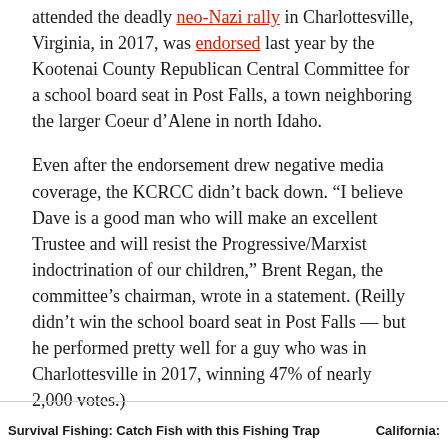attended the deadly neo-Nazi rally in Charlottesville, Virginia, in 2017, was endorsed last year by the Kootenai County Republican Central Committee for a school board seat in Post Falls, a town neighboring the larger Coeur d'Alene in north Idaho.
Even after the endorsement drew negative media coverage, the KCRCC didn't back down. “I believe Dave is a good man who will make an excellent Trustee and will resist the Progressive/Marxist indoctrination of our children,” Brent Regan, the committee’s chairman, wrote in a statement. (Reilly didn’t win the school board seat in Post Falls — but he performed pretty well for a guy who was in Charlottesville in 2017, winning 47% of nearly 2,000 votes.)
Survival Fishing: Catch Fish with this Fishing Trap    California: